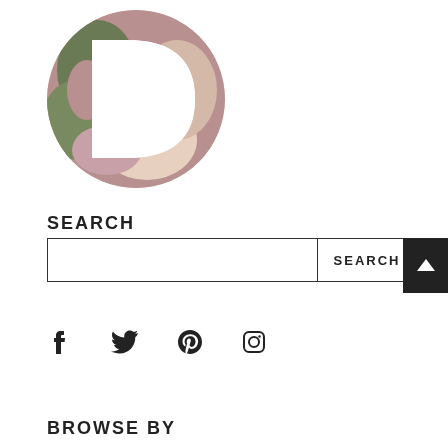[Figure (logo): A circular logo with a large letter D cutout revealing flowers (roses, peonies, greenery) inside]
SEARCH
[Figure (other): Search input box with SEARCH button on the right]
[Figure (other): Social media icons: Facebook, Twitter, Pinterest, Instagram]
BROWSE BY